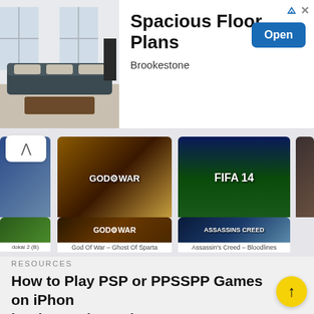[Figure (illustration): Advertisement banner for Brookestone Spacious Floor Plans showing a living room interior photo on the left, with text 'Spacious Floor Plans', 'Brookestone', and an Open button on the right]
[Figure (screenshot): Mobile app screenshot showing a grid of PSP game covers: God Of War - Chains Of Olympus, FIFA 14, Grand Theft Auto, God Of War - Ghost Of Sparta, Assassin's Creed - Bloodlines, and partial covers on the left edge, with download counts (5755, 5181, 514k) and star ratings]
RESOURCES
How to Play PSP or PPSSPP Games on iPhone iPad – Apple Device